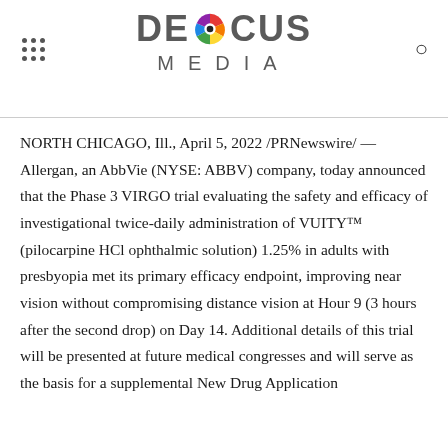DEFOCUS MEDIA
NORTH CHICAGO, Ill., April 5, 2022 /PRNewswire/ — Allergan, an AbbVie (NYSE: ABBV) company, today announced that the Phase 3 VIRGO trial evaluating the safety and efficacy of investigational twice-daily administration of VUITY™ (pilocarpine HCl ophthalmic solution) 1.25% in adults with presbyopia met its primary efficacy endpoint, improving near vision without compromising distance vision at Hour 9 (3 hours after the second drop) on Day 14. Additional details of this trial will be presented at future medical congresses and will serve as the basis for a supplemental New Drug Application